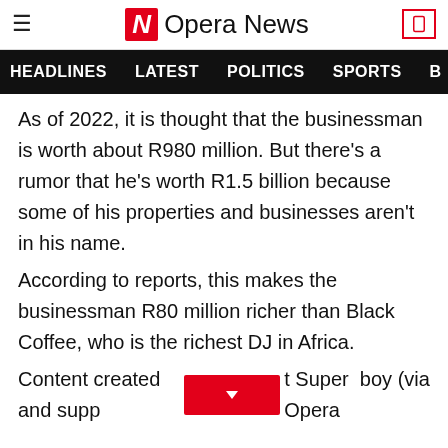Opera News
HEADLINES  LATEST  POLITICS  SPORTS  B
As of 2022, it is thought that the businessman is worth about R980 million. But there's a rumor that he's worth R1.5 billion because some of his properties and businesses aren't in his name.
According to reports, this makes the businessman R80 million richer than Black Coffee, who is the richest DJ in Africa.
Content created and supp[button] Super  boy (via Opera